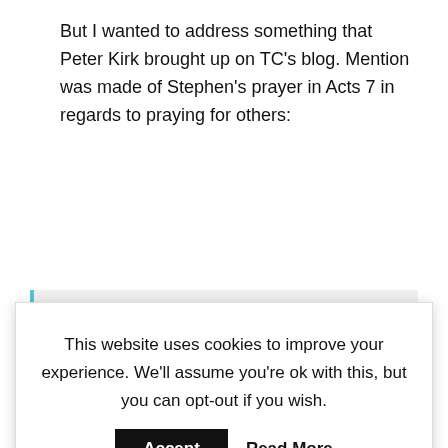But I wanted to address something that Peter Kirk brought up on TC's blog. Mention was made of Stephen's prayer in Acts 7 in regards to praying for others:
that, he died (Act 7:55-6 KZ.)
This website uses cookies to improve your experience. We'll assume you're ok with this, but you can opt-out if you wish. Accept Read More
Was this prayer important to the salvation of those people stoning Stephen? Plainly, Stephen asks the Lord not to hold the persecutors of murdering him. If so, then how do...